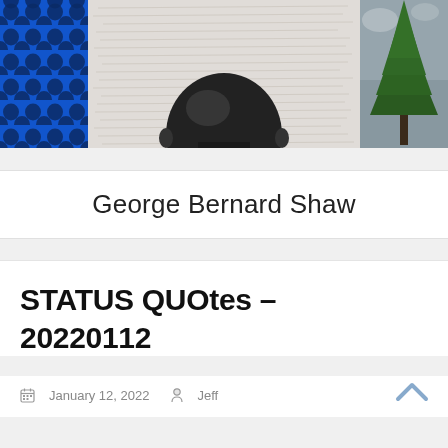[Figure (photo): Banner header with three panels: left blue honeycomb pattern, center black-and-white photo of top of a bald head with handwritten text background, right dark photo of a pine tree against cloudy sky]
George Bernard Shaw
STATUS QUOtes – 20220112
January 12, 2022   Jeff